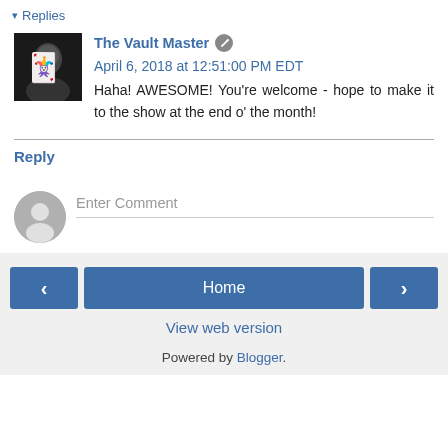▾ Replies
The Vault Master  April 6, 2018 at 12:51:00 PM EDT
Haha! AWESOME! You're welcome - hope to make it to the show at the end o' the month!
Reply
Enter Comment
Home  |  View web version  |  Powered by Blogger.